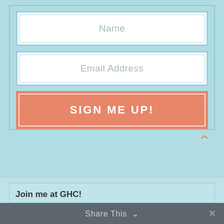[Figure (screenshot): Web form with Name field, Email Address field, and a SIGN ME UP! button on a light blue background]
Name
Email Address
SIGN ME UP!
Join me at GHC!
Share This  ✓  ✕